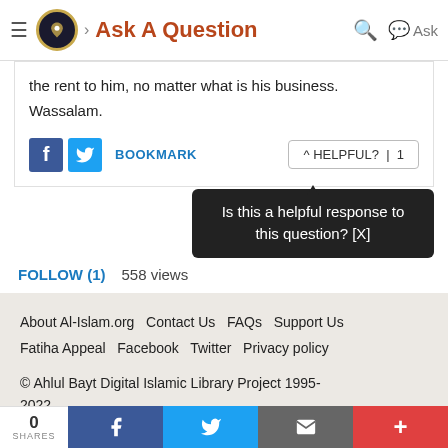Ask A Question
the rent to him, no matter what is his business. Wassalam.
BOOKMARK   ^ HELPFUL? | 1
Is this a helpful response to this question? [X]
FOLLOW (1)   558 views
About Al-Islam.org  Contact Us  FAQs  Support Us  Fatiha Appeal  Facebook  Twitter  Privacy policy
© Ahlul Bayt Digital Islamic Library Project 1995-2022
al-islam.org
0 SHARES